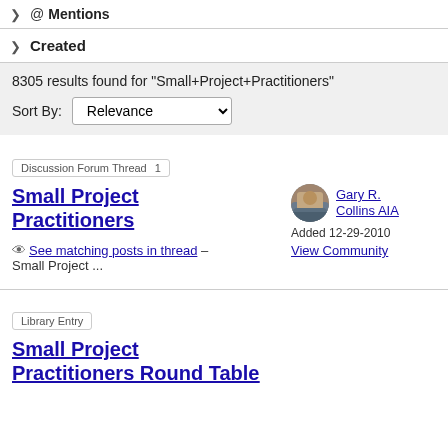> @ Mentions
> Created
8305 results found for "Small+Project+Practitioners"
Sort By: Relevance
Discussion Forum Thread  1
Small Project Practitioners
See matching posts in thread - Small Project ...
Gary R. Collins AIA
Added 12-29-2010
View Community
Library Entry
Small Project Practitioners Round Table